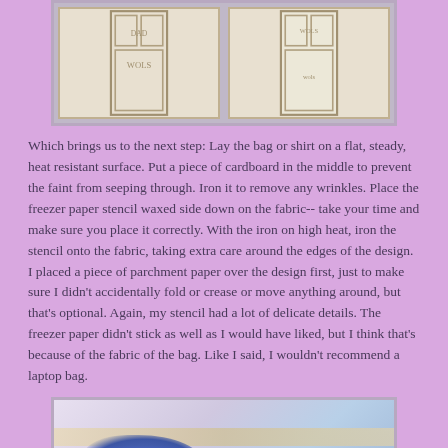[Figure (photo): Two door-shaped stencils on cream/beige paper, showing outline drawings of doors with windows and text, placed side by side on a dark red background.]
Which brings us to the next step: Lay the bag or shirt on a flat, steady, heat resistant surface. Put a piece of cardboard in the middle to prevent the faint from seeping through. Iron it to remove any wrinkles. Place the freezer paper stencil waxed side down on the fabric-- take your time and make sure you place it correctly. With the iron on high heat, iron the stencil onto the fabric, taking extra care around the edges of the design. I placed a piece of parchment paper over the design first, just to make sure I didn't accidentally fold or crease or move anything around, but that's optional. Again, my stencil had a lot of delicate details. The freezer paper didn't stick as well as I would have liked, but I think that's because of the fabric of the bag. Like I said, I wouldn't recommend a laptop bag.
[Figure (photo): A cloth bag or fabric item laid on a surface, with a blue paint or dye blob visible at the bottom, a tan/yellow stripe across the middle, and a watermark reading 'Treats & Trinkets'.]